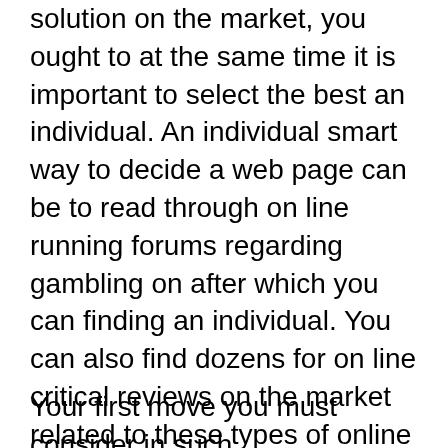solution on the market, you ought to at the same time it is important to select the best an individual. An individual smart way to decide a web page can be to read through on line running forums regarding gambling on after which you can finding an individual. You can also find dozens for on line critical reviews on the market related to these types of online websites which you can use in order to find released related to these types of online websites. You might want to take into account to be mainly when you experience tested sufficiently, that you choose to stand up the best possibility of secure substantial proposition wagers, notably in the field of sporting events.
Your first move you must consider in such